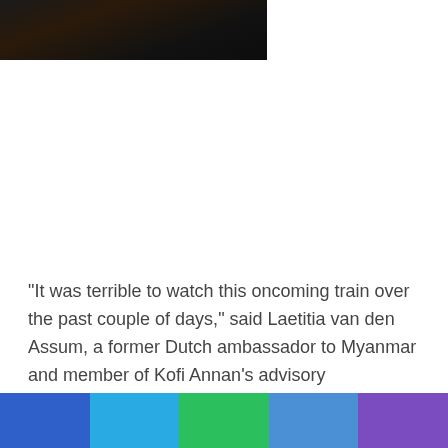[Figure (photo): A dark portrait photo showing a person, partially cropped at the top of the page against a black background.]
“It was terrible to watch this oncoming train over the past couple of days,” said Laetitia van den Assum, a former Dutch ambassador to Myanmar and member of Kofi Annan’s advisory commission on Rakhine state. “But if you look at Saturday's statement, it was all there.”
[Figure (infographic): A decorative color bar at the bottom of the page with five segments: blue, cyan, green, light blue, and purple.]